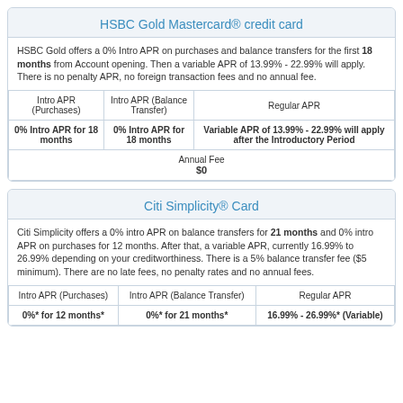HSBC Gold Mastercard® credit card
HSBC Gold offers a 0% Intro APR on purchases and balance transfers for the first 18 months from Account opening. Then a variable APR of 13.99% - 22.99% will apply. There is no penalty APR, no foreign transaction fees and no annual fee.
| Intro APR (Purchases) | Intro APR (Balance Transfer) | Regular APR |
| --- | --- | --- |
| 0% Intro APR for 18 months | 0% Intro APR for 18 months | Variable APR of 13.99% - 22.99% will apply after the Introductory Period |
| Annual Fee
$0 |  |  |
Citi Simplicity® Card
Citi Simplicity offers a 0% intro APR on balance transfers for 21 months and 0% intro APR on purchases for 12 months. After that, a variable APR, currently 16.99% to 26.99% depending on your creditworthiness. There is a 5% balance transfer fee ($5 minimum). There are no late fees, no penalty rates and no annual fees.
| Intro APR (Purchases) | Intro APR (Balance Transfer) | Regular APR |
| --- | --- | --- |
| 0%* for 12 months* | 0%* for 21 months* | 16.99% - 26.99%* (Variable) |